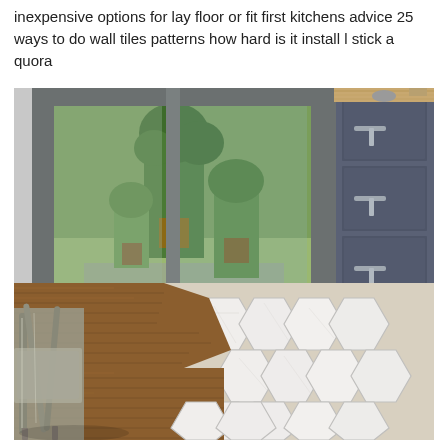inexpensive options for lay floor or fit first kitchens advice 25 ways to do wall tiles patterns how hard is it install l stick a quora
[Figure (photo): Kitchen floor showing a transition between large white marble hexagonal tiles and wood-look plank flooring. The kitchen has dark blue-grey cabinetry with silver bar handles and a wood countertop. Large glass sliding doors in the background open to a garden with potted plants. A metal industrial-style chair is visible on the left side.]